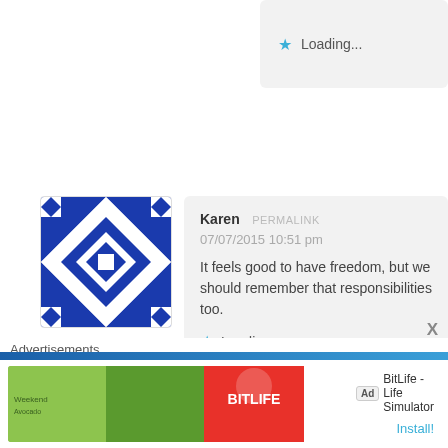Loading...
[Figure (illustration): Blue and white geometric quilt pattern avatar for Karen]
Karen  PERMALINK
07/07/2015 10:51 pm
It feels good to have freedom, but we should remember that responsibilities too.
Loading...
[Figure (illustration): Gray silhouette person avatar for Papaleng Pagulong]
Papaleng Pagulong  PERMALINK
07/07/2015 11:37 pm
Advertisements
[Figure (screenshot): BitLife - Life Simulator advertisement banner with Ad badge and Install button]